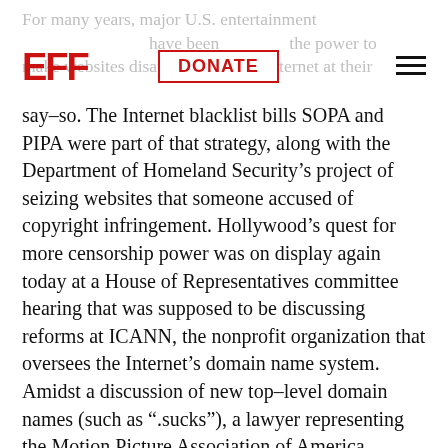For many years, major U.S. entertainment [companies] have been trying to win the power to make websites disappear from the Internet at their
[Figure (logo): EFF logo in red bold letters]
DONATE
say-so. The Internet blacklist bills SOPA and PIPA were part of that strategy, along with the Department of Homeland Security's project of seizing websites that someone accused of copyright infringement. Hollywood's quest for more censorship power was on display again today at a House of Representatives committee hearing that was supposed to be discussing reforms at ICANN, the nonprofit organization that oversees the Internet's domain name system. Amidst a discussion of new top-level domain names (such as “.sucks”), a lawyer representing the Motion Picture Association of America (MPAA), the Recording Industry Association of America (RIAA), and other groups told the House Judiciary Committee's Internet subcommittee that ICANN should force the